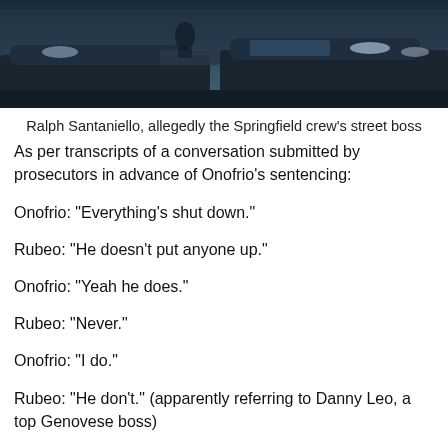[Figure (photo): Dark overhead photo of vehicles, appearing to show cars from above in low light]
Ralph Santaniello, allegedly the Springfield crew's street boss
As per transcripts of a conversation submitted by prosecutors in advance of Onofrio's sentencing:
Onofrio: "Everything's shut down."
Rubeo: "He doesn't put anyone up."
Onofrio: "Yeah he does."
Rubeo: "Never."
Onofrio: "I do."
Rubeo: "He don't." (apparently referring to Danny Leo, a top Genovese boss)